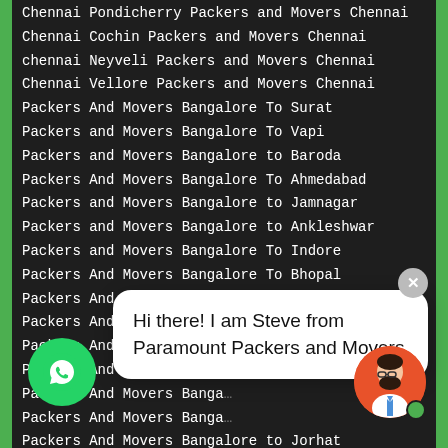Chennai Pondicherry Packers and Movers Chennai
Chennai Cochin Packers and Movers Chennai
chennai Neyveli Packers and Movers Chennai
Chennai Vellore Packers and Movers Chennai
Packers And Movers Bangalore To Surat
Packers and Movers Bangalore To Vapi
Packers and Movers Bangalore to Baroda
Packers And Movers Bangalore To Ahmedabad
Packers and Movers Bangalore to Jamnagar
Packers and Movers Bangalore to Ankleshwar
Packers and Movers Bangalore To Indore
Packers And Movers Bangalore To Bhopal
Packers And Movers Bangalore to Gwalior
Packers And Movers Bangalore to Raipur
Packers And Movers Banga...
Packers And Movers Banga...
Packers And Movers Banga...
Packers And Movers Banga...
Packers And Movers Bangalore to Jorhat
And Movers Bangalore to Nashik
And Movers Bangalore to Bokaro
Packers And Movers Bangalore to Aurangabad
Packers And Movers Bangalore to Jal...
Hi there! I am Steve from Paramount Packers and Movers